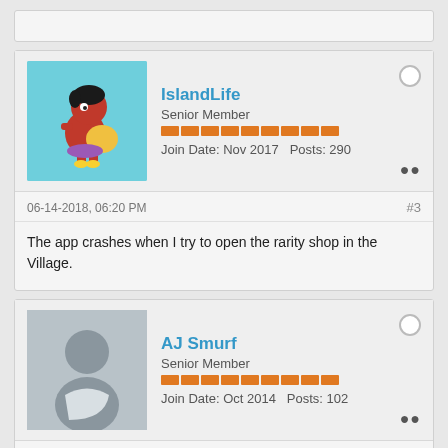[Figure (other): Avatar of IslandLife user - cartoon character running on cyan background]
IslandLife
Senior Member
Join Date: Nov 2017  Posts: 290
06-14-2018, 06:20 PM  #3
The app crashes when I try to open the rarity shop in the Village.
[Figure (other): Default gray avatar silhouette for AJ Smurf]
AJ Smurf
Senior Member
Join Date: Oct 2014  Posts: 102
06-14-2018, 10:19 PM  #4
@Spelling Bee same as above, my app crashes in Android when trying to access the rarity shop